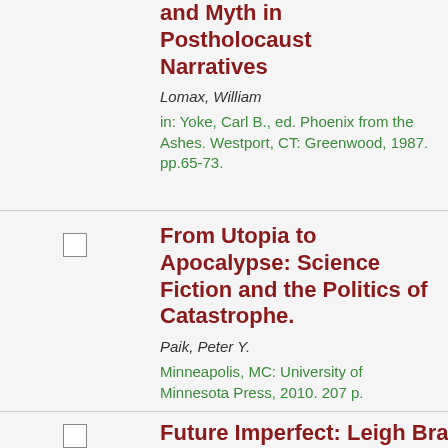and Myth in Postholocaust Narratives
Lomax, William
in: Yoke, Carl B., ed. Phoenix from the Ashes. Westport, CT: Greenwood, 1987. pp.65-73.
From Utopia to Apocalypse: Science Fiction and the Politics of Catastrophe.
Paik, Peter Y.
Minneapolis, MC: University of Minnesota Press, 2010. 207 p.
Future Imperfect: Leigh Brackett: The...